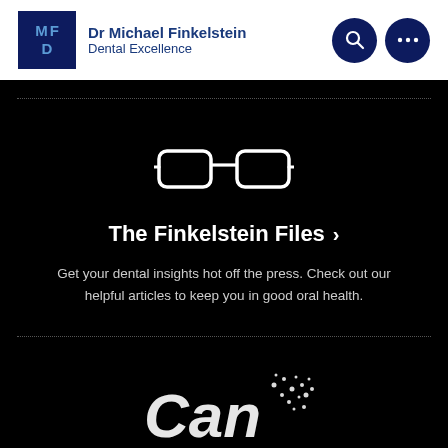Dr Michael Finkelstein Dental Excellence
[Figure (logo): Glasses icon illustration in white on black background]
The Finkelstein Files ›
Get your dental insights hot off the press. Check out our helpful articles to keep you in good oral health.
[Figure (logo): Partial 'Can' logo with dot pattern at bottom of page]